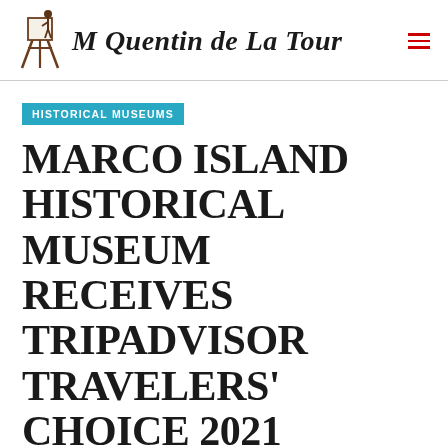M Quentin de La Tour
HISTORICAL MUSEUMS
MARCO ISLAND HISTORICAL MUSEUM RECEIVES TRIPADVISOR TRAVELERS' CHOICE 2021 AWARD | MUSEUMS